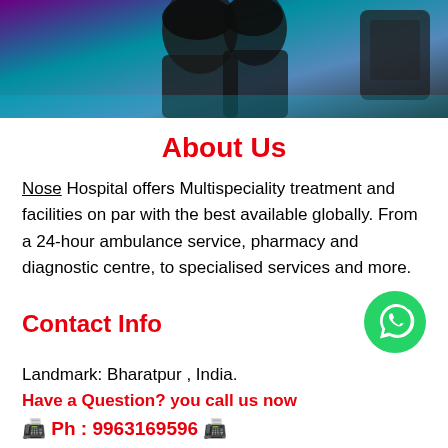[Figure (photo): Photo banner showing people, with purple/teal gradient overlay]
About Us
Nose Hospital offers Multispeciality treatment and facilities on par with the best available globally. From a 24-hour ambulance service, pharmacy and diagnostic centre, to specialised services and more.
Contact Info
Landmark: Bharatpur , India.
Have a Question? you call us now
📠 Ph : 9963169596 📠